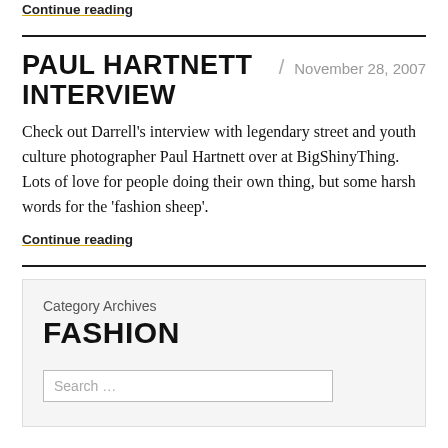Continue reading
PAUL HARTNETT INTERVIEW
November 28, 2007
Check out Darrell’s interview with legendary street and youth culture photographer Paul Hartnett over at BigShinyThing. Lots of love for people doing their own thing, but some harsh words for the ‘fashion sheep’.
Continue reading
Category Archives
FASHION
Search …